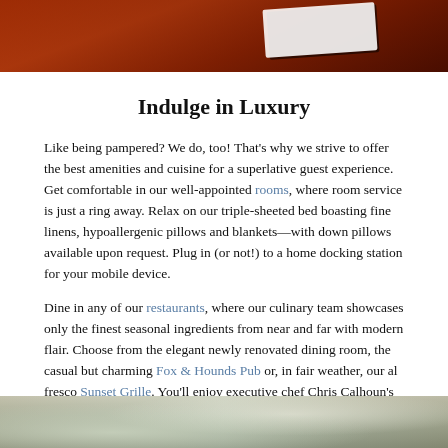[Figure (photo): Top portion of a photo showing a red-toned luxury hotel room setting with what appears to be linens or menu on a dark background]
Indulge in Luxury
Like being pampered? We do, too! That’s why we strive to offer the best amenities and cuisine for a superlative guest experience. Get comfortable in our well-appointed rooms, where room service is just a ring away. Relax on our triple-sheeted bed boasting fine linens, hypoallergenic pillows and blankets—with down pillows available upon request. Plug in (or not!) to a home docking station for your mobile device.
Dine in any of our restaurants, where our culinary team showcases only the finest seasonal ingredients from near and far with modern flair. Choose from the elegant newly renovated dining room, the casual but charming Fox & Hounds Pub or, in fair weather, our al fresco Sunset Grille. You’ll enjoy executive chef Chris Calhoun’s exquisite dishes at all three venues.
[Figure (photo): Bottom portion of a photo showing a blurred close-up of food/dining items with soft focus colors]